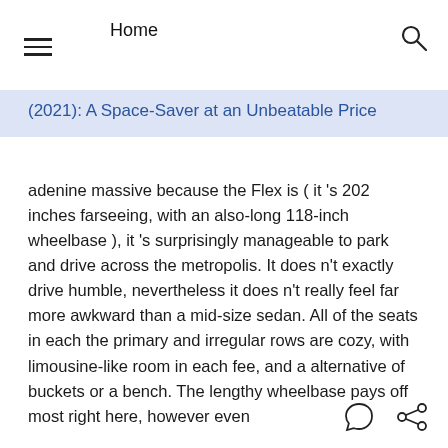Home
(2021): A Space-Saver at an Unbeatable Price
adenine massive because the Flex is ( it 's 202 inches farseeing, with an also-long 118-inch wheelbase ), it 's surprisingly manageable to park and drive across the metropolis. It does n't exactly drive humble, nevertheless it does n't really feel far more awkward than a mid-size sedan. All of the seats in each the primary and irregular rows are cozy, with limousine-like room in each fee, and a alternative of buckets or a bench. The lengthy wheelbase pays off most right here, however even